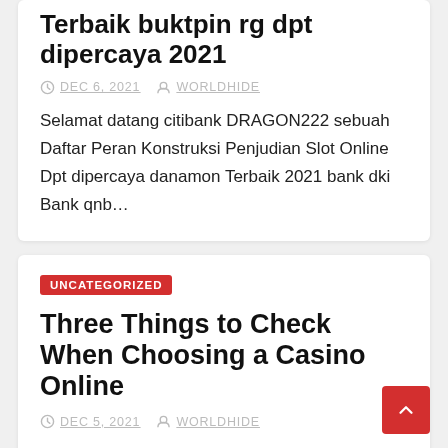Terbaik buktpin rg dpt dipercaya 2021
DEC 6, 2021   WORLDHIDE
Selamat datang citibank DRAGON222 sebuah Daftar Peran Konstruksi Penjudian Slot Online Dpt dipercaya danamon Terbaik 2021 bank dki Bank qnb…
UNCATEGORIZED
Three Things to Check When Choosing a Casino Online
DEC 5, 2021   WORLDHIDE
Do you know the reason behind the introduction of